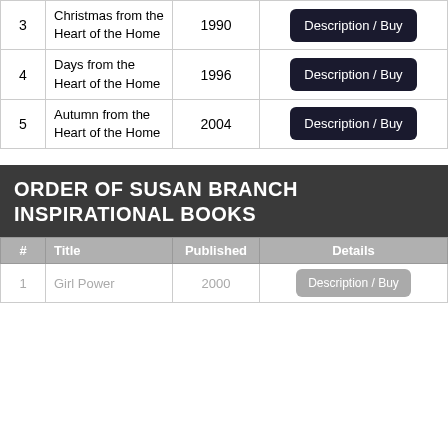| # | Title | Published | Details |
| --- | --- | --- | --- |
| 3 | Christmas from the Heart of the Home | 1990 | Description / Buy |
| 4 | Days from the Heart of the Home | 1996 | Description / Buy |
| 5 | Autumn from the Heart of the Home | 2004 | Description / Buy |
ORDER OF SUSAN BRANCH INSPIRATIONAL BOOKS
| # | Title | Published | Details |
| --- | --- | --- | --- |
| 1 | Girl Power | 2000 | Description / Buy |